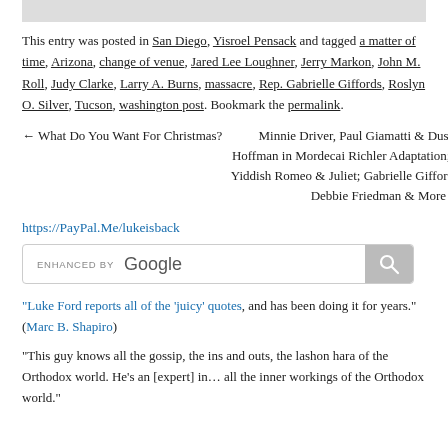This entry was posted in San Diego, Yisroel Pensack and tagged a matter of time, Arizona, change of venue, Jared Lee Loughner, Jerry Markon, John M. Roll, Judy Clarke, Larry A. Burns, massacre, Rep. Gabrielle Giffords, Roslyn O. Silver, Tucson, washington post. Bookmark the permalink.
← What Do You Want For Christmas?   Minnie Driver, Paul Giamatti & Dustin Hoffman in Mordecai Richler Adaptation; A Yiddish Romeo & Juliet; Gabrielle Giffords, Debbie Friedman & More →
https://PayPal.Me/lukeisback
[Figure (screenshot): Google search box with 'ENHANCED BY Google' label and search icon button]
"Luke Ford reports all of the 'juicy' quotes, and has been doing it for years." (Marc B. Shapiro)
"This guy knows all the gossip, the ins and outs, the lashon hara of the Orthodox world. He's an [expert] in… all the inner workings of the Orthodox world."